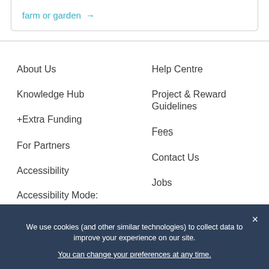farm or garden →
About Us
Knowledge Hub
+Extra Funding
For Partners
Accessibility
Accessibility Mode: Off
Help Centre
Project & Reward Guidelines
Fees
Contact Us
Jobs
We use cookies (and other similar technologies) to collect data to improve your experience on our site. You can change your preferences at any time.